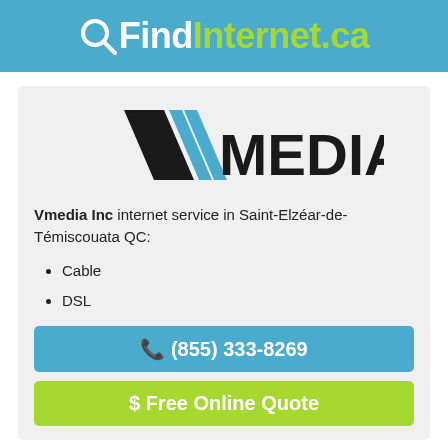QFindInternet.ca
[Figure (logo): Vmedia Inc company logo — stylized V shape with diagonal blue stripes and bold MEDIA text]
Vmedia Inc internet service in Saint-Elzéar-de-Témiscouata QC:
Cable
DSL
(855) 333-8269
$ Free Online Quote
Vmedia Inc offers internet download speeds up to 200 Mbps.